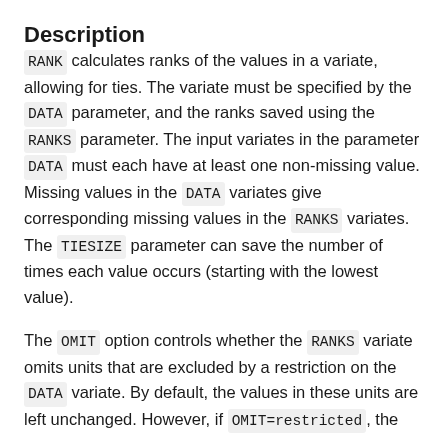Description
RANK calculates ranks of the values in a variate, allowing for ties. The variate must be specified by the DATA parameter, and the ranks saved using the RANKS parameter. The input variates in the parameter DATA must each have at least one non-missing value. Missing values in the DATA variates give corresponding missing values in the RANKS variates. The TIESIZE parameter can save the number of times each value occurs (starting with the lowest value).
The OMIT option controls whether the RANKS variate omits units that are excluded by a restriction on the DATA variate. By default, the values in these units are left unchanged. However, if OMIT=restricted, the